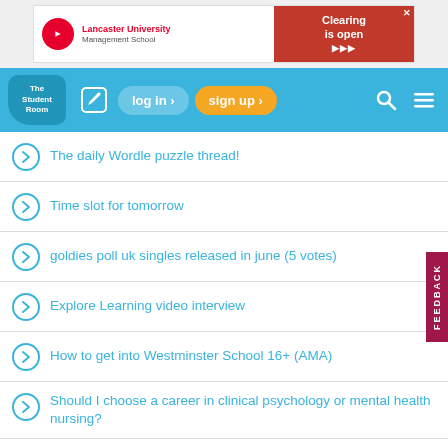[Figure (screenshot): Lancaster University Management School advertisement banner with red logo, university name, and 'Clearing is open' red right panel with arrows]
[Figure (screenshot): The Student Room navigation bar with logo, edit icon, log in button, sign up button, search icon, and menu icon]
The daily Wordle puzzle thread!
Time slot for tomorrow
goldies poll uk singles released in june (5 votes)
Explore Learning video interview
How to get into Westminster School 16+ (AMA)
Should I choose a career in clinical psychology or mental health nursing?
South Asian tings Part 2
My perm is still here after 4 years